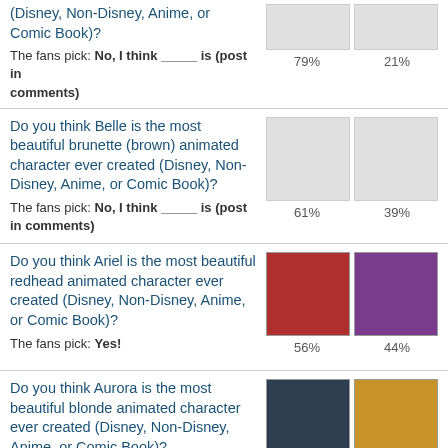| Question | Option 1 % | Option 2 % |
| --- | --- | --- |
| (Disney, Non-Disney, Anime, or Comic Book)? The fans pick: No, I think ____ is (post in comments) | 79% | 21% |
| Do you think Belle is the most beautiful brunette (brown) animated character ever created (Disney, Non-Disney, Anime, or Comic Book)? The fans pick: No, I think ____ is (post in comments) | 61% | 39% |
| Do you think Ariel is the most beautiful redhead animated character ever created (Disney, Non-Disney, Anime, or Comic Book)? The fans pick: Yes! | 56% | 44% |
| Do you think Aurora is the most beautiful blonde animated character ever created (Disney, Non-Disney, Anime, or Comic Book)? The fans pick: Why yes, I do! | 56% | 44% |
| Are you happy that enrolados got... |  |  |